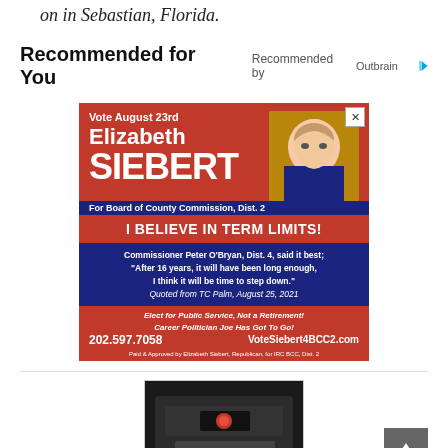on in Sebastian, Florida.
Recommended for You
[Figure (illustration): Political campaign advertisement for Elizabeth Siebert for Board of County Commission, Dist. 2. Red and blue background. Features candidate photo. Text: Vote August 23rd, Elizabeth SIEBERT, For Board of County Commission Dist. 2, I BELIEVE IN TERM LIMITS!, Commissioner Peter O'Bryan Dist. 4 said it best; After 16 years it will have been long enough I think it will be time to step down. Quoted from TC Palm August 25 2021. Elect for Public Service Not a Retirement! Career Politician Joe Has Got To Go! 202.597.7058 VoteSiebert4BCC2.com. Paid & Approved by Elizabeth Siebert Republican for IRC BCC Dist. 2]
[Figure (photo): Typewriter photo, partial view, dark background]